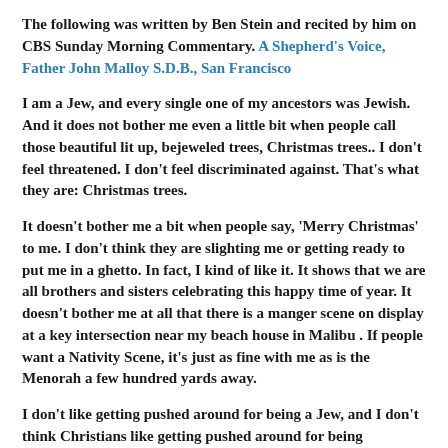The following was written by Ben Stein and recited by him on CBS Sunday Morning Commentary. A Shepherd's Voice, Father John Malloy S.D.B., San Francisco
I am a Jew, and every single one of my ancestors was Jewish. And it does not bother me even a little bit when people call those beautiful lit up, bejeweled trees, Christmas trees.. I don't feel threatened. I don't feel discriminated against. That's what they are: Christmas trees.
It doesn't bother me a bit when people say, 'Merry Christmas' to me. I don't think they are slighting me or getting ready to put me in a ghetto. In fact, I kind of like it. It shows that we are all brothers and sisters celebrating this happy time of year. It doesn't bother me at all that there is a manger scene on display at a key intersection near my beach house in Malibu . If people want a Nativity Scene, it's just as fine with me as is the Menorah a few hundred yards away.
I don't like getting pushed around for being a Jew, and I don't think Christians like getting pushed around for being Christians.